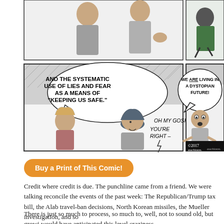[Figure (illustration): Comic strip panels showing two characters talking. Left panel (bottom row): Speech bubble reads 'AND THE SYSTEMATIC USE OF LIES AND FEAR AS A MEANS OF "KEEPING US SAFE."' with responses 'OH MY GOSH! YOU'RE RIGHT–'. Right panel (bottom row): Character with shocked expression, speech bubble 'WE ARE LIVING IN A DYSTOPIAN FUTURE!' with partial text cut off. Copyright mark '©2017 auchtoon.' visible. Top panels partially visible showing characters in conversation.]
Buy a Print of This Comic!
Credit where credit is due. The punchline came from a friend. We were talking reconcile the events of the past week: The Republican/Trump tax bill, the Alab travel-ban decisions, North Korean missiles, the Mueller investigation, and so
There is just so much to process, so much to, well, not to sound old, but growi would have anticipated this level craziness.
For more with that theme, and that the C... ... and the ...